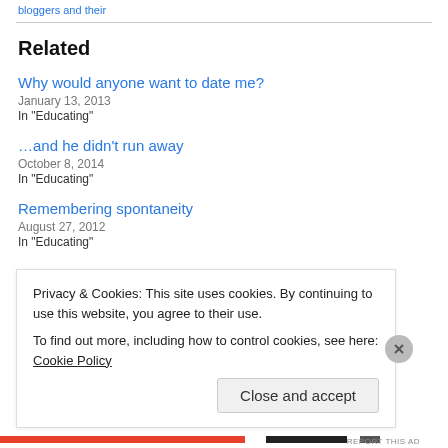bloggers and their
Related
Why would anyone want to date me?
January 13, 2013
In "Educating"
…and he didn't run away
October 8, 2014
In "Educating"
Remembering spontaneity
August 27, 2012
In "Educating"
Privacy & Cookies: This site uses cookies. By continuing to use this website, you agree to their use. To find out more, including how to control cookies, see here: Cookie Policy
Close and accept